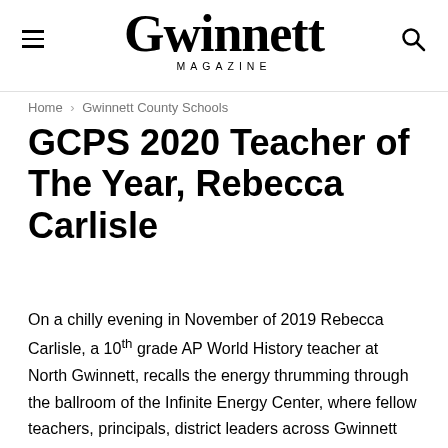Gwinnett MAGAZINE
Home › Gwinnett County Schools
GCPS 2020 Teacher of The Year, Rebecca Carlisle
On a chilly evening in November of 2019 Rebecca Carlisle, a 10th grade AP World History teacher at North Gwinnett, recalls the energy thrumming through the ballroom of the Infinite Energy Center, where fellow teachers, principals, district leaders across Gwinnett convened.